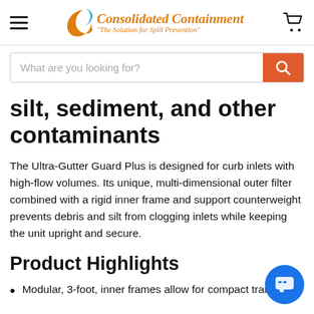Consolidated Containment "The Solution for Spill Prevention"
What are you looking for?
silt, sediment, and other contaminants
The Ultra-Gutter Guard Plus is designed for curb inlets with high-flow volumes. Its unique, multi-dimensional outer filter combined with a rigid inner frame and support counterweight prevents debris and silt from clogging inlets while keeping the unit upright and secure.
Product Highlights
Modular, 3-foot, inner frames allow for compact transport